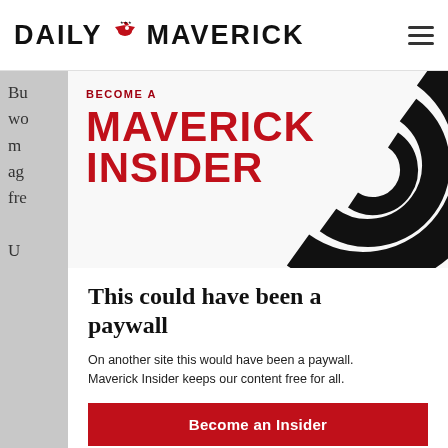DAILY MAVERICK
[Figure (logo): Daily Maverick logo with eagle/bird icon and site name in bold black text]
[Figure (illustration): Become a Maverick Insider promotional banner with red text on white background and black swirl graphic on the right]
This could have been a paywall
On another site this would have been a paywall. Maverick Insider keeps our content free for all.
Become an Insider
Already an Insider? Click here to log in.